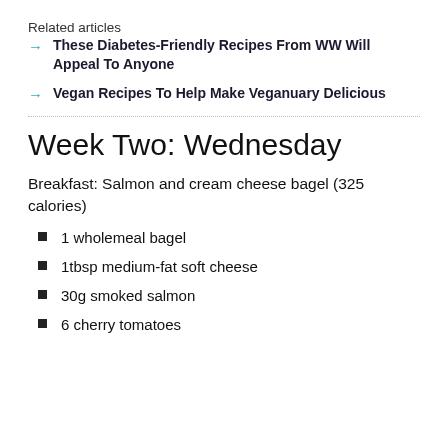Related articles
These Diabetes-Friendly Recipes From WW Will Appeal To Anyone
Vegan Recipes To Help Make Veganuary Delicious
Week Two: Wednesday
Breakfast: Salmon and cream cheese bagel (325 calories)
1 wholemeal bagel
1tbsp medium-fat soft cheese
30g smoked salmon
6 cherry tomatoes